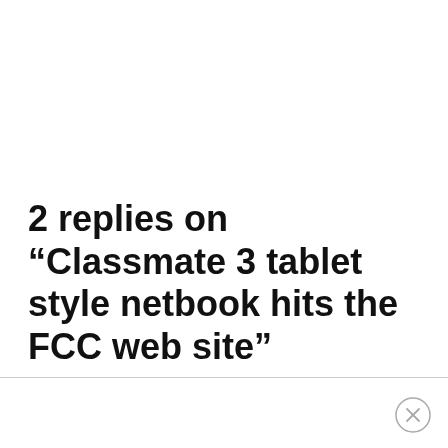2 replies on “Classmate 3 tablet style netbook hits the FCC web site”